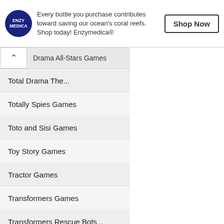[Figure (logo): Enzymedica circular logo, dark navy blue background with white text reading ENZY MEDICA]
Every bottle you purchase contributes toward saving our ocean's coral reefs. Shop today! Enzymedica®
Shop Now
Drama All-Stars Games
Total Drama The...
Totally Spies Games
Toto and Sisi Games
Toy Story Games
Tractor Games
Transformers Games
Transformers Rescue Bots...
Transformers: Prime Games
Transformers: Animated Games
Trolls Games
TUFF Puppy Games